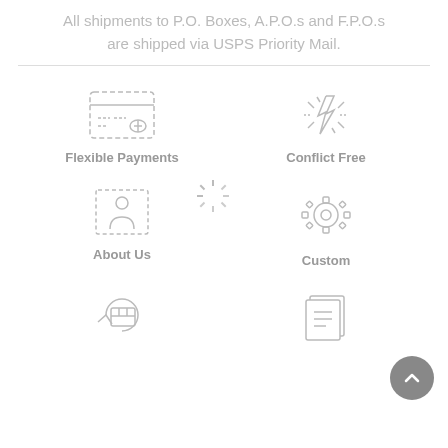All shipments to P.O. Boxes, A.P.O.s and F.P.O.s are shipped via USPS Priority Mail.
[Figure (illustration): Credit card icon for Flexible Payments]
[Figure (illustration): Loading spinner icon]
[Figure (illustration): Lightning bolt / conflict free icon]
Flexible Payments
Conflict Free
[Figure (illustration): Accessibility / About Us icon]
[Figure (illustration): Gear / Custom icon]
About Us
Custom
[Figure (illustration): Shipping / returns box icon]
[Figure (illustration): Documents / catalog icon]
[Figure (illustration): Back to top arrow button]